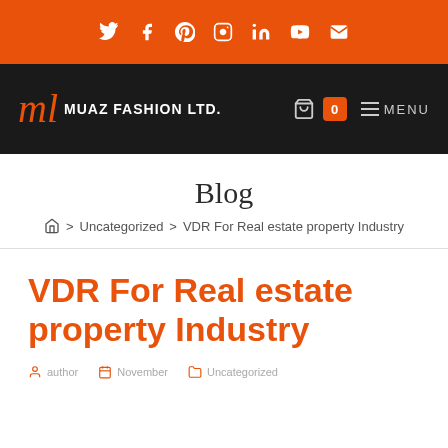Social media links bar: Twitter, Facebook, Pinterest, Instagram, LinkedIn, YouTube, Email
[Figure (logo): Muaz Fashion Ltd. logo with orange script 'ml' and white text on dark background, with cart icon and menu]
Blog
🏠 > Uncategorized > VDR For Real estate property Industry
VDR For Real estate property Industry